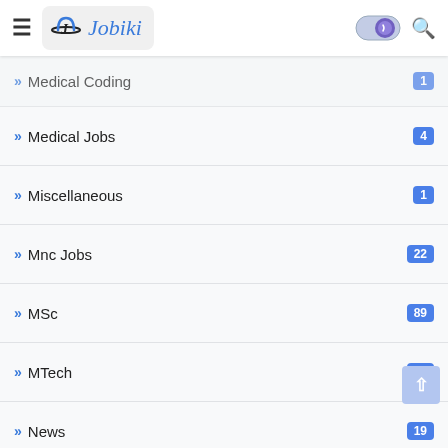Jobiki
Medical Coding — 1
Medical Jobs — 4
Miscellaneous — 1
Mnc Jobs — 22
MSc — 89
MTech — 67
News — 19
Norka Roots — 4
Oman — 72
Online Certificate Courses — 1
Online Courses — 13
Online Jobs — 36